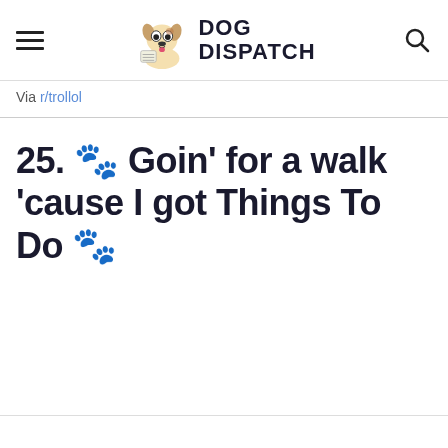Dog Dispatch
Via r/trollol
25. 🐾 Goin' for a walk 'cause I got Things To Do 🐾